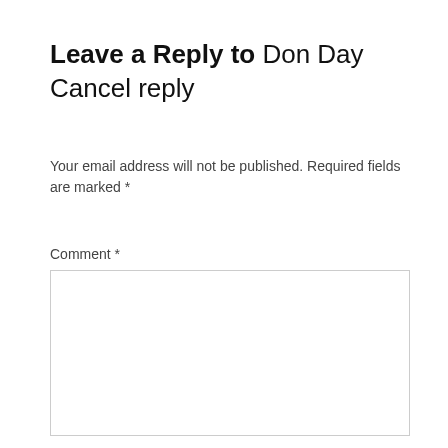Leave a Reply to Don Day Cancel reply
Your email address will not be published. Required fields are marked *
Comment *